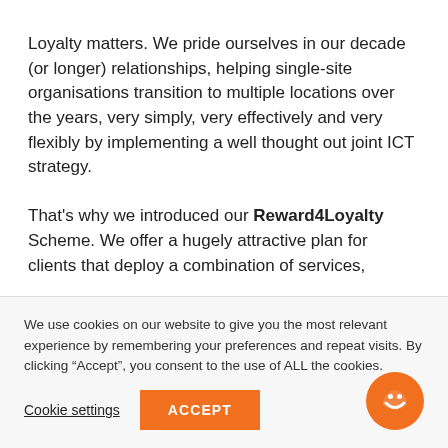Loyalty matters. We pride ourselves in our decade (or longer) relationships, helping single-site organisations transition to multiple locations over the years, very simply, very effectively and very flexibly by implementing a well thought out joint ICT strategy.

That's why we introduced our Reward4Loyalty Scheme. We offer a hugely attractive plan for clients that deploy a combination of services,
We use cookies on our website to give you the most relevant experience by remembering your preferences and repeat visits. By clicking “Accept”, you consent to the use of ALL the cookies.
Cookie settings
ACCEPT